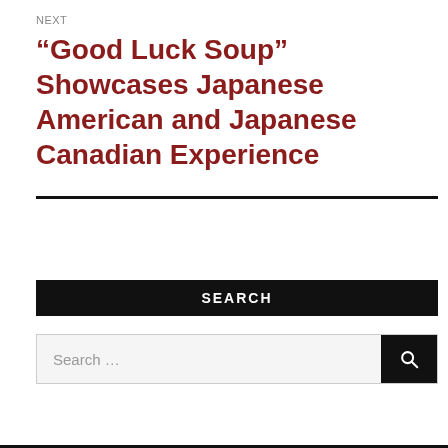NEXT
“Good Luck Soup” Showcases Japanese American and Japanese Canadian Experience
SEARCH